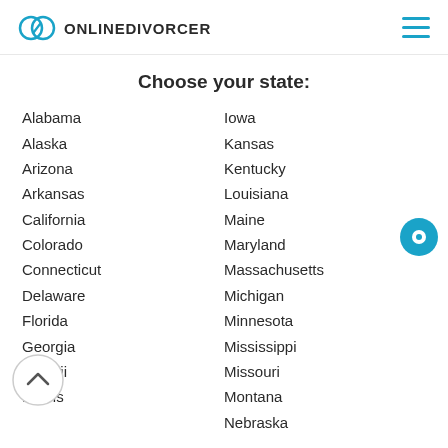ONLINEDIVORCER
Choose your state:
Alabama
Alaska
Arizona
Arkansas
California
Colorado
Connecticut
Delaware
Florida
Georgia
Hawaii
Illinois
Iowa
Kansas
Kentucky
Louisiana
Maine
Maryland
Massachusetts
Michigan
Minnesota
Mississippi
Missouri
Montana
Nebraska